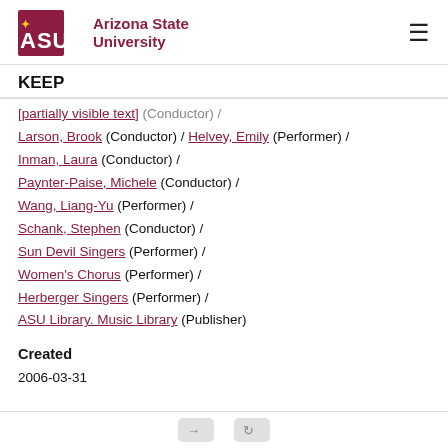ASU Arizona State University
KEEP
[partially visible line] (Conductor) /
Larson, Brook (Conductor) / Helvey, Emily (Performer) /
Inman, Laura (Conductor) /
Paynter-Paise, Michele (Conductor) /
Wang, Liang-Yu (Performer) /
Schank, Stephen (Conductor) /
Sun Devil Singers (Performer) /
Women's Chorus (Performer) /
Herberger Singers (Performer) /
ASU Library. Music Library (Publisher)
Created
2006-03-31